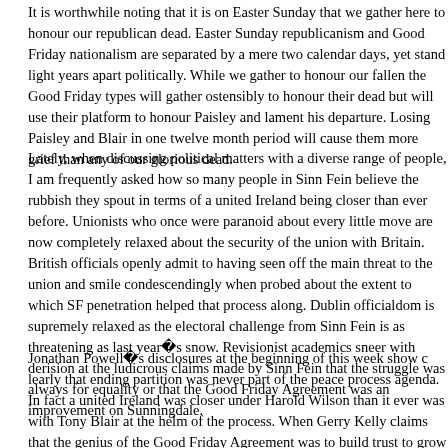It is worthwhile noting that it is on Easter Sunday that we gather here to honour our republican dead. Easter Sunday republicanism and Good Friday nationalism are separated by a mere two calendar days, yet stand light years apart politically. While we gather to honour our fallen the Good Friday types will gather ostensibly to honour their dead but will use their platform to honour Paisley and lament his departure. Losing Paisley and Blair in one twelve month period will cause them more grief than any of our glorious dead.
Lately, when discussing political matters with a diverse range of people, I am frequently asked how so many people in Sinn Fein believe the rubbish they spout in terms of a united Ireland being closer than ever before. Unionists who once were paranoid about every little move are now completely relaxed about the security of the union with Britain. British officials openly admit to having seen off the main threat to the union and smile condescendingly when probed about the extent to which SF penetration helped that process along. Dublin officialdom is supremely relaxed as the electoral challenge from Sinn Fein is as threatening as last year�s snow. Revisionist academics sneer with derision at the ludicrous claims made by Sinn Fein that the struggle was always for equality or that the Good Friday Agreement was an improvement on Sunningdale.
Jonathan Powell�s disclosures at the beginning of this week show clearly that ending partition was never part of the peace process agenda. In fact a united Ireland was closer under Harold Wilson than it ever was with Tony Blair at the helm of the process. When Gerry Kelly claims that the genius of the Good Friday Agreement was to build trust to grow he obscures a more fundamental act of ingenuity on its part.